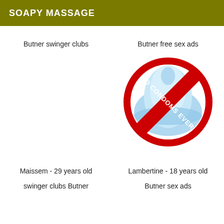SOAPY MASSAGE
Butner swinger clubs
Butner free sex ads
[Figure (illustration): A condom with a red prohibition circle and the text 'NO CONDOMS EVER' written diagonally across it]
Maissem - 29 years old
swinger clubs Butner
Lambertine - 18 years old
Butner sex ads